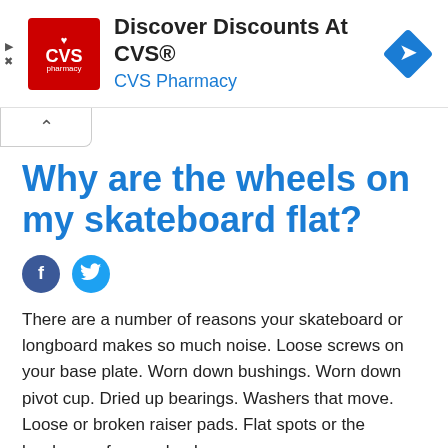[Figure (advertisement): CVS Pharmacy advertisement banner with CVS logo, text 'Discover Discounts At CVS®' and 'CVS Pharmacy', and a blue diamond navigation icon]
Why are the wheels on my skateboard flat?
[Figure (infographic): Facebook and Twitter social sharing icons]
There are a number of reasons your skateboard or longboard makes so much noise. Loose screws on your base plate. Worn down bushings. Worn down pivot cup. Dried up bearings. Washers that move. Loose or broken raiser pads. Flat spots or the hardness of your wheels.